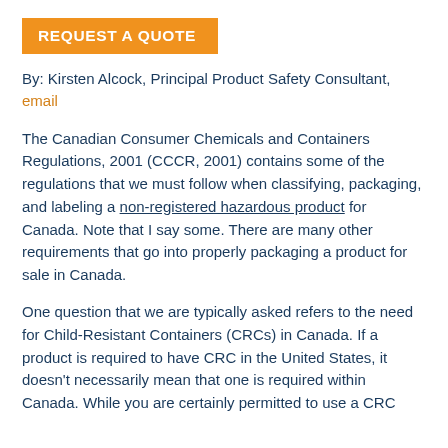REQUEST A QUOTE
By: Kirsten Alcock, Principal Product Safety Consultant, email
The Canadian Consumer Chemicals and Containers Regulations, 2001 (CCCR, 2001) contains some of the regulations that we must follow when classifying, packaging, and labeling a non-registered hazardous product for Canada. Note that I say some. There are many other requirements that go into properly packaging a product for sale in Canada.
One question that we are typically asked refers to the need for Child-Resistant Containers (CRCs) in Canada. If a product is required to have CRC in the United States, it doesn't necessarily mean that one is required within Canada. While you are certainly permitted to use a CRC